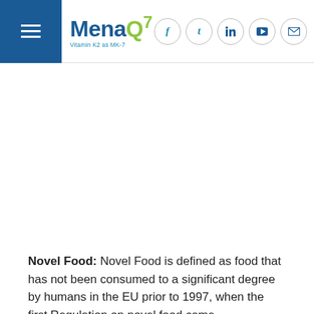MenaQ7 – Vitamin K2 as MK-7
[Figure (logo): MenaQ7 logo with 'Vitamin K2 as MK-7' tagline, alongside social media icons for Facebook, Twitter, LinkedIn, YouTube, and Email]
Novel Food: Novel Food is defined as food that has not been consumed to a significant degree by humans in the EU prior to 1997, when the first Regulation on novel food came